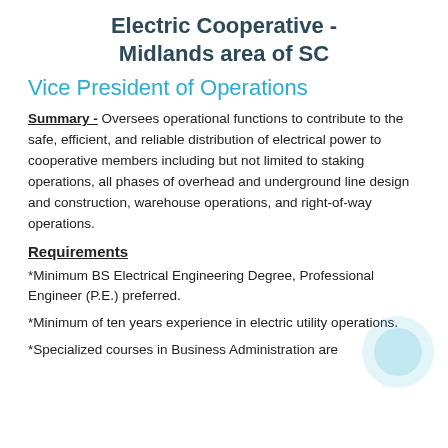Electric Cooperative - Midlands area of SC
Vice President of Operations
Summary - Oversees operational functions to contribute to the safe, efficient, and reliable distribution of electrical power to cooperative members including but not limited to staking operations, all phases of overhead and underground line design and construction, warehouse operations, and right-of-way operations.
Requirements
*Minimum BS Electrical Engineering Degree, Professional Engineer (P.E.) preferred.
*Minimum of ten years experience in electric utility operations.
*Specialized courses in Business Administration are